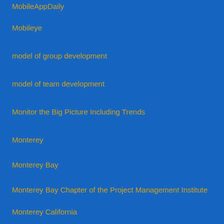MobileAppDaily
Mobileye
model of group development
model of team development
Monitor the Big Picture Including Trends
Monterey
Monterey Bay
Monterey Bay Chapter of the Project Management Institute
Monterey California
Montreal